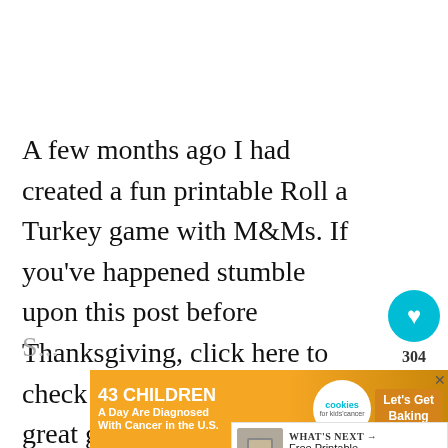A few months ago I had created a fun printable Roll a Turkey game with M&Ms. If you've happened stumble upon this post before Thanksgiving, click here to check it out! It would be a great game to play while you're waiting for dinner to be serv...
[Figure (screenshot): Social sharing UI: teal heart button with count 304, share button with arrows icon]
[Figure (screenshot): WHAT'S NEXT banner showing thumbnail and text 'Free Printable Christmas...']
S... to nt°
[Figure (screenshot): Advertisement banner: '43 CHILDREN A Day Are Diagnosed With Cancer in the U.S.' with cookies for kids'cancer logo and 'Let's Get Baking' button]